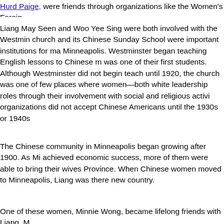Hurd Paige, were friends through organizations like the Women's Foreig...
Liang May Seen and Woo Yee Sing were both involved with the Westmin... church and its Chinese Sunday School were important institutions for ma... Minneapolis. Westminster began teaching English lessons to Chinese m... was one of their first students. Although Westminster did not begin teach... until 1920, the church was one of few places where women—both white leadership roles through their involvement with social and religious activi... organizations did not accept Chinese Americans until the 1930s or 1940s...
The Chinese community in Minneapolis began growing after 1900. As Mi... achieved economic success, more of them were able to bring their wives... Province. When Chinese women moved to Minneapolis, Liang was there... new country.
One of these women, Minnie Wong, became lifelong friends with Liang. M... Minneapolis in the early 1900s to join her husband, Wong Gee. Liang Ma... were both from Kaiping District, and they spoke the same dialect. They w... and together they taught Westminster's first English classes for women.
In 1906, Liang May Seen and her husband expanded their family. They w... biological children, but they adopted a young boy named Howard from S...